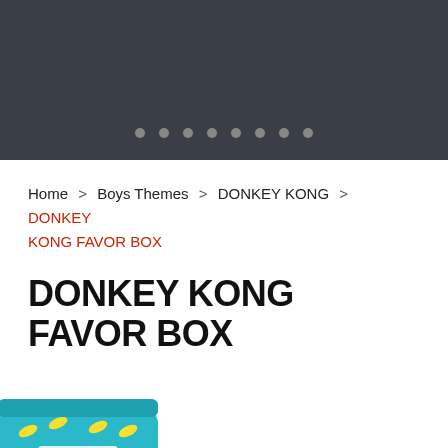[Figure (screenshot): Dark gray header banner with carousel dot indicators at the bottom]
Home > Boys Themes > DONKEY KONG > DONKEY KONG FAVOR BOX
DONKEY KONG FAVOR BOX
[Figure (photo): Partial view of a Donkey Kong favor box product in blue/yellow/teal colors with banana pattern]